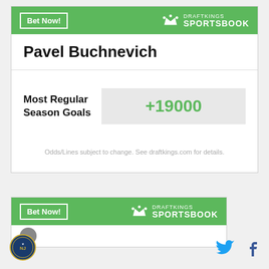[Figure (logo): DraftKings Sportsbook green header with Bet Now button and DraftKings Sportsbook logo]
Pavel Buchnevich
Most Regular Season Goals
+19000
Odds/Lines subject to change. See draftkings.com for details.
[Figure (logo): Second DraftKings Sportsbook green header with Bet Now button]
[Figure (logo): New Jersey gaming seal / badge icon at bottom left]
[Figure (logo): Twitter bird icon at bottom right]
[Figure (logo): Facebook f icon at bottom right]